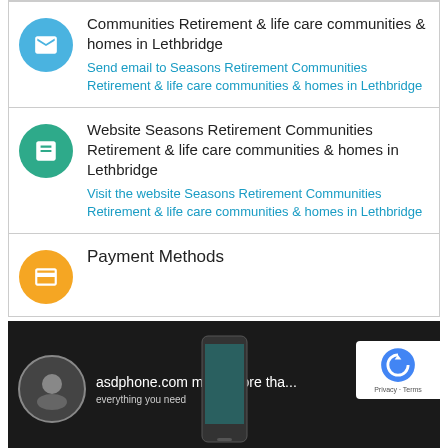Communities Retirement & life care communities & homes in Lethbridge
Send email to Seasons Retirement Communities Retirement & life care communities & homes in Lethbridge
Website Seasons Retirement Communities Retirement & life care communities & homes in Lethbridge
Visit the website Seasons Retirement Communities Retirement & life care communities & homes in Lethbridge
Payment Methods
[Figure (screenshot): Video thumbnail showing a person holding a phone, with overlay text 'asdphone.com much more tha...' and subtitle 'everything you need', with a reCAPTCHA badge on the right.]